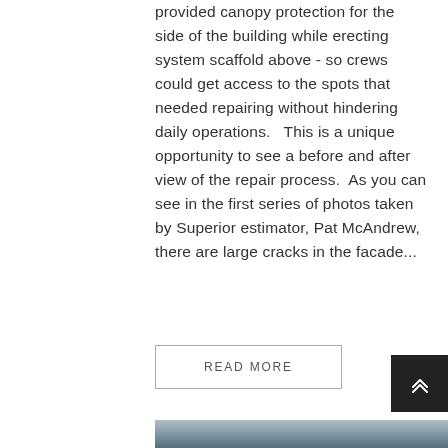provided canopy protection for the side of the building while erecting system scaffold above - so crews could get access to the spots that needed repairing without hindering daily operations.   This is a unique opportunity to see a before and after view of the repair process.  As you can see in the first series of photos taken by Superior estimator, Pat McAndrew, there are large cracks in the facade...
READ MORE
[Figure (photo): Aerial view of a large industrial or commercial building complex with rooftop equipment.]